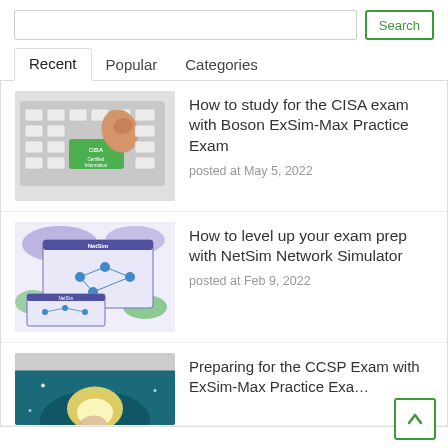Search
Recent | Popular | Categories
How to study for the CISA exam with Boson ExSim-Max Practice Exam
posted at May 5, 2022
How to level up your exam prep with NetSim Network Simulator
posted at Feb 9, 2022
Preparing for the CCSP Exam with ExSim-Max Practice Exa…